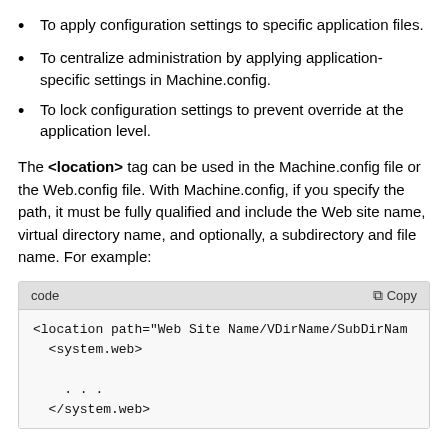To apply configuration settings to specific application files.
To centralize administration by applying application-specific settings in Machine.config.
To lock configuration settings to prevent override at the application level.
The <location> tag can be used in the Machine.config file or the Web.config file. With Machine.config, if you specify the path, it must be fully qualified and include the Web site name, virtual directory name, and optionally, a subdirectory and file name. For example:
[Figure (screenshot): Code block with header showing 'code' and 'Copy' button, containing XML snippet: <location path="Web Site Name/VDirName/SubDirNam"> <system.web> . . . </system.web>]